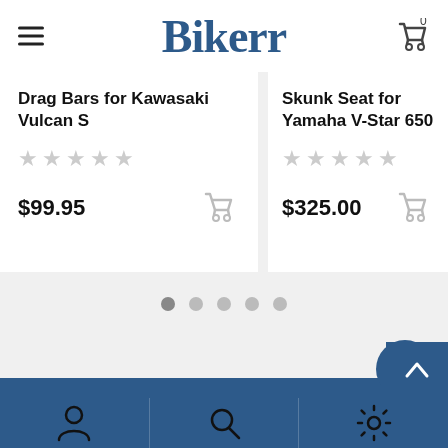Bikerr
Drag Bars for Kawasaki Vulcan S
$99.95
Skunk Seat for Yamaha V-Star 650
$325.00
Show More
[Figure (screenshot): Mobile e-commerce app screenshot showing Bikerr header with hamburger menu and cart icon, two product cards (Drag Bars for Kawasaki Vulcan S at $99.95 and Skunk Seat for Yamaha V-Star 650 at $325.00), pagination dots, Show More button, and bottom navigation bar with person, search, and settings icons.]